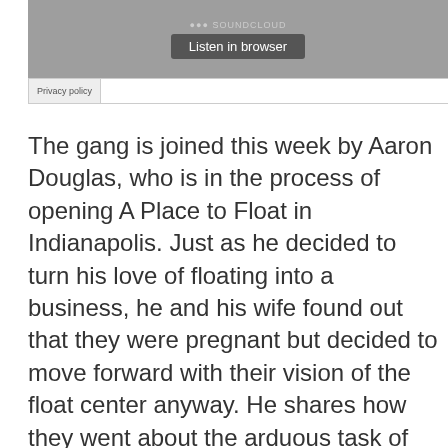[Figure (screenshot): SoundCloud embedded audio player widget with 'Listen in browser' button on grey background]
Privacy policy
The gang is joined this week by Aaron Douglas, who is in the process of opening A Place to Float in Indianapolis. Just as he decided to turn his love of floating into a business, he and his wife found out that they were pregnant but decided to move forward with their vision of the float center anyway. He shares how they went about the arduous task of finding funding for a six-tank center, pursuing bank loans, crowd-investing, and finally having luck with simply asking people